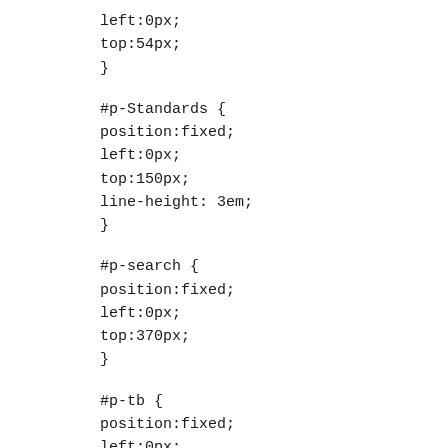left:0px;
top:54px;
}
#p-Standards {
position:fixed;
left:0px;
top:150px;
line-height: 3em;
}
#p-search {
position:fixed;
left:0px;
top:370px;
}
#p-tb {
position:fixed;
left:0px;
top:450px;
}